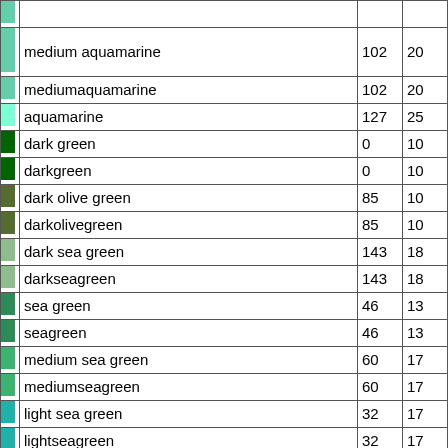| swatch | name | col1 | col2 |
| --- | --- | --- | --- |
|  | medium aquamarine | 102 | 20 |
|  | mediumaquamarine | 102 | 20 |
|  | aquamarine | 127 | 25 |
|  | dark green | 0 | 10 |
|  | darkgreen | 0 | 10 |
|  | dark olive green | 85 | 10 |
|  | darkolivegreen | 85 | 10 |
|  | dark sea green | 143 | 18 |
|  | darkseagreen | 143 | 18 |
|  | sea green | 46 | 13 |
|  | seagreen | 46 | 13 |
|  | medium sea green | 60 | 17 |
|  | mediumseagreen | 60 | 17 |
|  | light sea green | 32 | 17 |
|  | lightseagreen | 32 | 17 |
|  | pale green | 152 | 25 |
|  | palegreen | 152 | 25 |
|  | spring green | 0 | 25 |